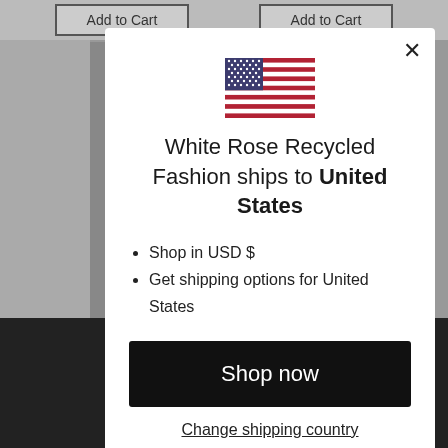[Figure (screenshot): Background of an e-commerce page showing 'Add to Cart' buttons and product images, partially obscured by modal overlay]
[Figure (illustration): United States flag SVG illustration]
White Rose Recycled Fashion ships to United States
Shop in USD $
Get shipping options for United States
Shop now
Change shipping country